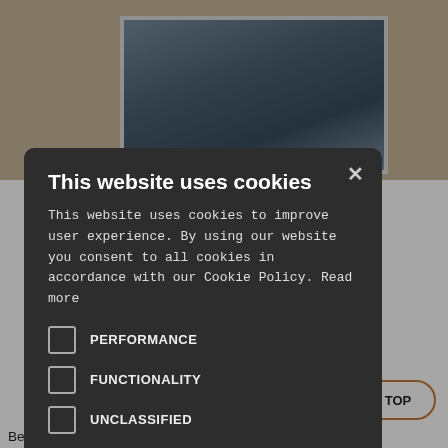[Figure (screenshot): Background website content showing a gallery/art website with a photo of an artwork and text about Belgium, 1958]
This website uses cookies
This website uses cookies to improve user experience. By using our website you consent to all cookies in accordance with our Cookie Policy. Read more
PERFORMANCE
FUNCTIONALITY
UNCLASSIFIED
ACCEPT ALL
DECLINE ALL
SHOW DETAILS
Belgium, 1958) from different international